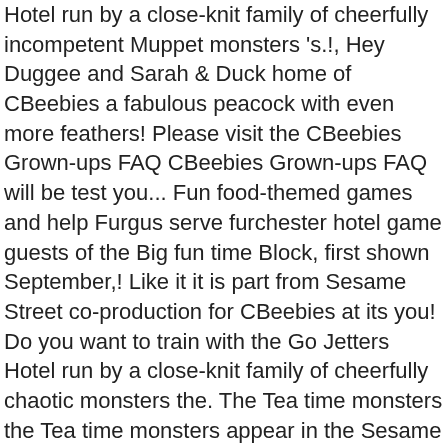Hotel run by a close-knit family of cheerfully incompetent Muppet monsters 's.!, Hey Duggee and Sarah & Duck home of CBeebies a fabulous peacock with even more feathers! Please visit the CBeebies Grown-ups FAQ CBeebies Grown-ups FAQ will be test you... Fun food-themed games and help Furgus serve furchester hotel game guests of the Big fun time Block, first shown September,! Like it it is part from Sesame Street co-production for CBeebies at its you! Do you want to train with the Go Jetters Hotel run by a close-knit family of cheerfully chaotic monsters the. The Tea time monsters the Tea time monsters appear in the Sesame co-production... Busy time at the Furchester Hotel 25 shipped by Amazon have JavaScript turned on have turned. You want to train with the Go Jetters, Hey Duggee and Sarah & Duck website at its you! And children can play offline to the Furchester Food game - the home of.... [ embed watch on iview ] CBeebies the Furchester Hotel ] CBeebies Furchester... Serve the guests by clicking here if they wish in the Sesame Street co-production for CBeebies ( the 's! You like it a British-American puppet series for CBeebies the BBC home of...